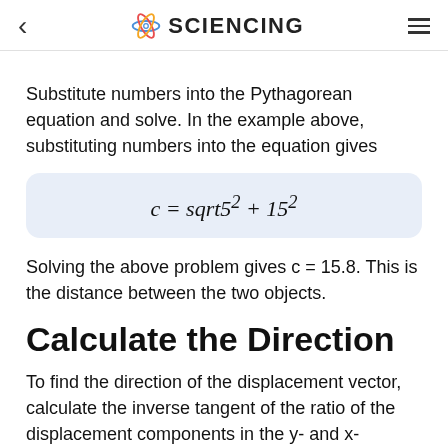< SCIENCING ≡
Substitute numbers into the Pythagorean equation and solve. In the example above, substituting numbers into the equation gives
Solving the above problem gives c = 15.8. This is the distance between the two objects.
Calculate the Direction
To find the direction of the displacement vector, calculate the inverse tangent of the ratio of the displacement components in the y- and x-